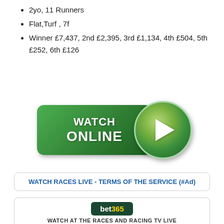2yo, 11 Runners
Flat,Turf , 7f
Winner £7,437, 2nd £2,395, 3rd £1,134, 4th £504, 5th £252, 6th £126
[Figure (illustration): Green 'Watch Online' button with play triangle circle icon]
WATCH RACES LIVE - TERMS OF THE SERVICE (#Ad)
[Figure (logo): bet365 logo on dark green background]
WATCH AT THE RACES AND RACING TV LIVE